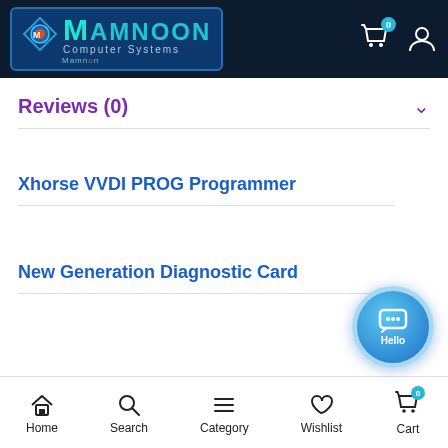[Figure (logo): Mamnoon Computer Systems logo with teal/blue gradient text and diamond icon on dark navy background]
Reviews (0)
Xhorse VVDI PROG Programmer
New Generation Diagnostic Card
[Figure (other): Blue chat button with speech bubble icon and 'Hello' label]
Home  Search  Category  Wishlist  Cart